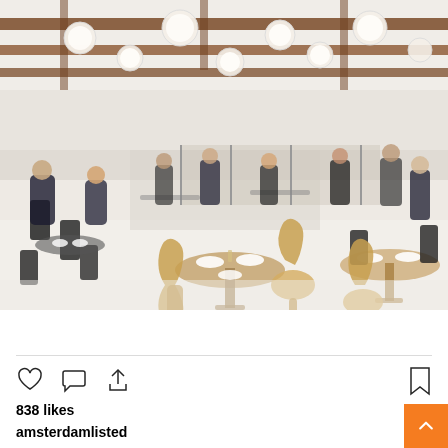[Figure (photo): Interior of a busy restaurant with wooden beam ceiling, globe pendant lights, white epoxy floor, wooden bistro chairs, and round tables with place settings. Multiple diners and staff visible throughout the space.]
View more on Instagram
[Figure (other): Instagram action icons: heart (like), comment bubble, share arrow]
838 likes
amsterdamlisted